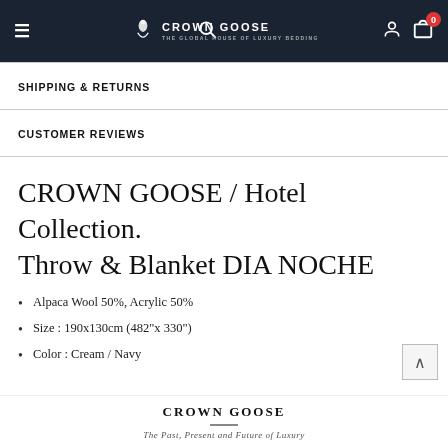Crown Goose navigation bar with hamburger menu, search, logo, user icon, and cart (0)
SHIPPING & RETURNS
CUSTOMER REVIEWS
CROWN GOOSE / Hotel Collection. Throw & Blanket DIA NOCHE
Alpaca Wool 50%, Acrylic 50%
Size : 190x130cm (482"x 330")
Color : Cream / Navy
CROWN GOOSE — The Past, Present and Future of Luxury